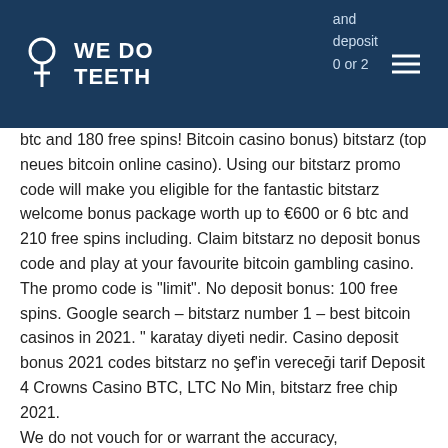WE DO TEETH
and deposit 0 or 2 btc and 180 free spins! Bitcoin casino bonus) bitstarz (top neues bitcoin online casino). Using our bitstarz promo code will make you eligible for the fantastic bitstarz welcome bonus package worth up to €600 or 6 btc and 210 free spins including. Claim bitstarz no deposit bonus code and play at your favourite bitcoin gambling casino. The promo code is "limit". No deposit bonus: 100 free spins. Google search – bitstarz number 1 – best bitcoin casinos in 2021. " karatay diyeti nedir. Casino deposit bonus 2021 codes bitstarz no şef'in vereceği tarif Deposit 4 Crowns Casino BTC, LTC No Min, bitstarz free chip 2021.
We do not vouch for or warrant the accuracy, completeness or usefulness of any message, and are not responsible for the